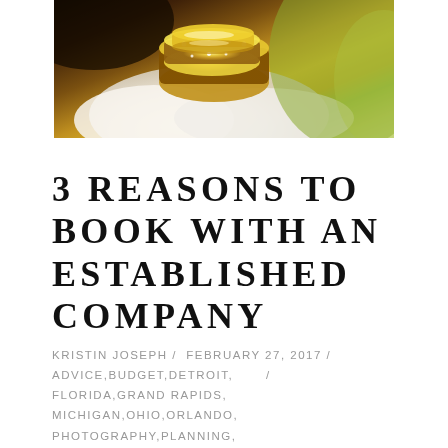[Figure (photo): Close-up photo of gold wedding rings with diamonds resting on white flower petals, with a green background]
3 REASONS TO BOOK WITH AN ESTABLISHED COMPANY
KRISTIN JOSEPH / FEBRUARY 27, 2017 / ADVICE,BUDGET,DETROIT, / FLORIDA,GRAND RAPIDS, MICHIGAN,OHIO,ORLANDO, PHOTOGRAPHY,PLANNING,